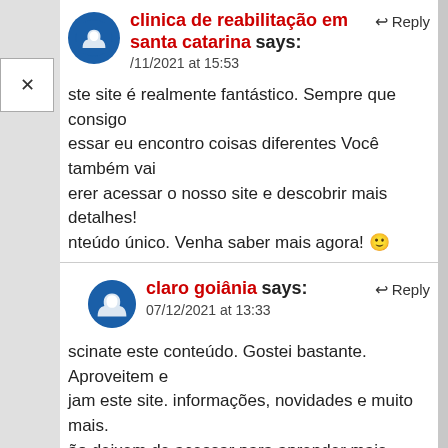clinica de reabilitação em santa catarina says:
/11/2021 at 15:53
ste site é realmente fantástico. Sempre que consigo essar eu encontro coisas diferentes Você também vai erer acessar o nosso site e descobrir mais detalhes! nteúdo único. Venha saber mais agora! 🙂
claro goiânia says:
07/12/2021 at 13:33
scinate este conteúdo. Gostei bastante. Aproveitem e jam este site. informações, novidades e muito mais. ão deixem de acessar para aprender mais. Obrigado a dos e até mais. 🙂